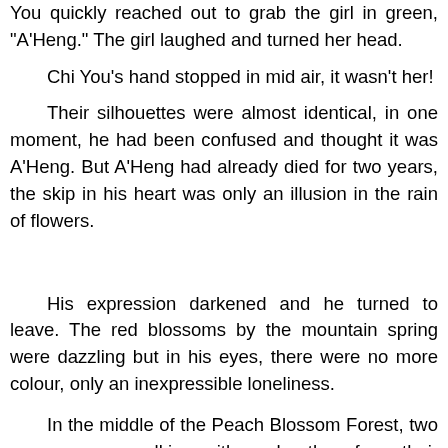You quickly reached out to grab the girl in green, 'A'Heng.' The girl laughed and turned her head.
Chi You's hand stopped in mid air, it wasn't her!
Their silhouettes were almost identical, in one moment, he had been confused and thought it was A'Heng. But A'Heng had already died for two years, the skip in his heart was only an illusion in the rain of flowers.
His expression darkened and he turned to leave. The red blossoms by the mountain spring were dazzling but in his eyes, there were no more colour, only an inexpressible loneliness.
In the middle of the Peach Blossom Forest, two women were walking with each other, from their looks, they did not appear to differ much in age, but it was clear that there was a seniority gap. One was the eldest princess of Sheng Nong country, Yan Su, the other was the Jade Emperor's...